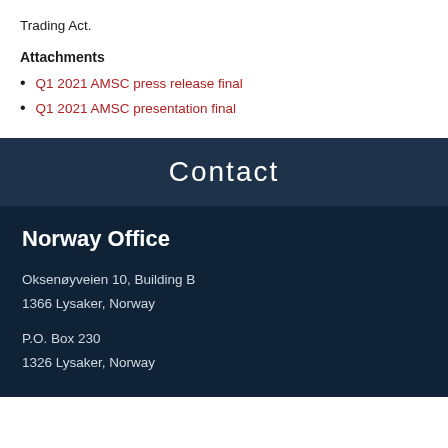Trading Act.
Attachments
Q1 2021 AMSC press release final
Q1 2021 AMSC presentation final
Contact
Norway Office
Oksenøyveien 10, Building B
1366 Lysaker, Norway
P.O. Box 230
1326 Lysaker, Norway